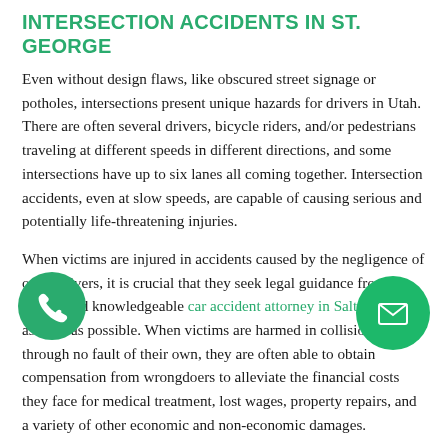INTERSECTION ACCIDENTS IN ST. GEORGE
Even without design flaws, like obscured street signage or potholes, intersections present unique hazards for drivers in Utah. There are often several drivers, bicycle riders, and/or pedestrians traveling at different speeds in different directions, and some intersections have up to six lanes all coming together. Intersection accidents, even at slow speeds, are capable of causing serious and potentially life-threatening injuries.
When victims are injured in accidents caused by the negligence of other drivers, it is crucial that they seek legal guidance from a skilled and knowledgeable car accident attorney in Salt Lake City as soon as possible. When victims are harmed in collisions, through no fault of their own, they are often able to obtain compensation from wrongdoers to alleviate the financial costs they face for medical treatment, lost wages, property repairs, and a variety of other economic and non-economic damages.
At Jardine Law Offices P.C., our Utah personal injury...